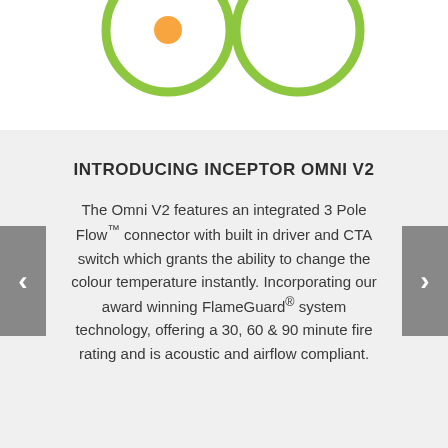[Figure (illustration): Two green circle outlines partially visible at the top of the page on a white background]
INTRODUCING INCEPTOR OMNI V2
The Omni V2 features an integrated 3 Pole Flow™ connector with built in driver and CTA switch which grants the ability to change the colour temperature instantly. Incorporating our award winning FlameGuard® system technology, offering a 30, 60 & 90 minute fire rating and is acoustic and airflow compliant.